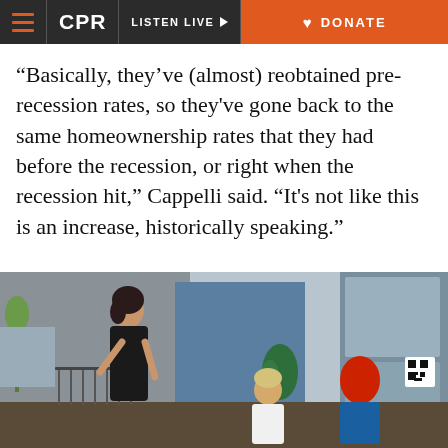CPR | LISTEN LIVE | DONATE
“Basically, they’ve (almost) reobtained pre-recession rates, so they've gone back to the same homeownership rates that they had before the recession, or right when the recession hit,” Cappelli said. “It's not like this is an increase, historically speaking.”
[Figure (photo): Three women on an outdoor patio/balcony of a modern building. One woman in a black dress stands on the left near a railing, smiling. Two women sit on the right — one with blonde hair wearing a white shirt, and one with bright red hair facing away from the camera. A blue wall and large glass windows are visible in the background.]